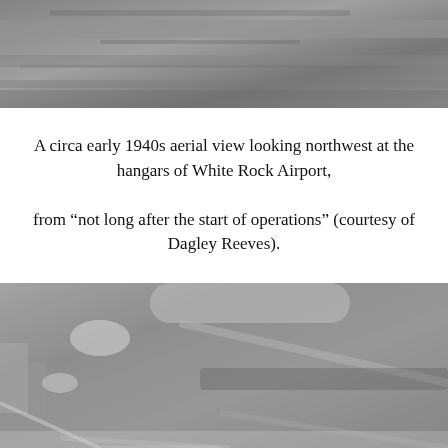[Figure (photo): Circa early 1940s aerial view looking northwest at the hangars of White Rock Airport, black and white photo, top portion of page]
A circa early 1940s aerial view looking northwest at the hangars of White Rock Airport,

from “not long after the start of operations” (courtesy of Dagley Reeves).
[Figure (photo): A circa early 1940s aerial view of White Rock Airport grounds, black and white photo, showing runways, fields, and buildings from above]